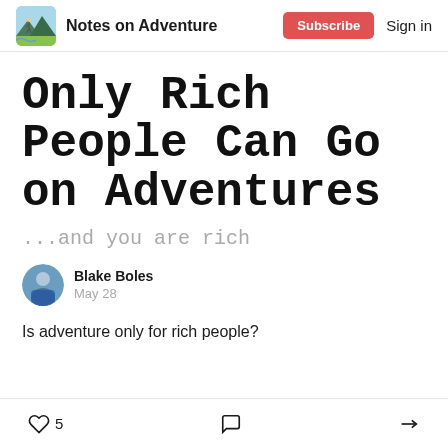Notes on Adventure
Only Rich People Can Go on Adventures
...and you are rich
Blake Boles
May 28
Is adventure only for rich people?
5 [likes] [comments] [share]